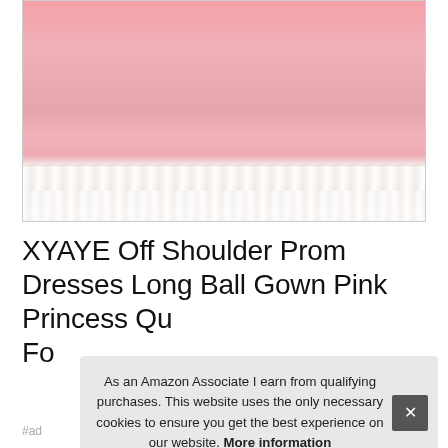[Figure (photo): Close-up of the bottom of a pink princess ball gown with white lace trim along the hem, on a white background]
XYAYE Off Shoulder Prom Dresses Long Ball Gown Pink Princess Qu... Fo...
As an Amazon Associate I earn from qualifying purchases. This website uses the only necessary cookies to ensure you get the best experience on our website. More information
#ad